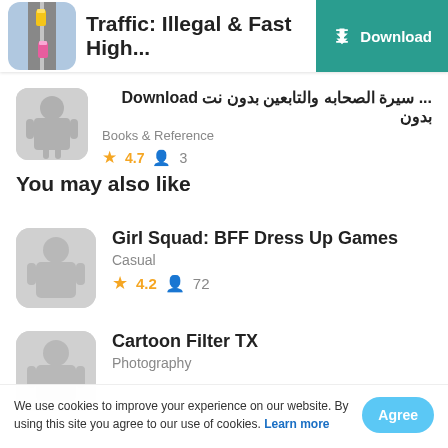Traffic: Illegal & Fast High... Download
... سيرة الصحابه والتابعين بدون نت Download بدون
Books & Reference
★ 4.7   👤 3
You may also like
Girl Squad: BFF Dress Up Games
Casual
★ 4.2   👤 72
Cartoon Filter TX
Photography
We use cookies to improve your experience on our website. By using this site you agree to our use of cookies. Learn more
Agree